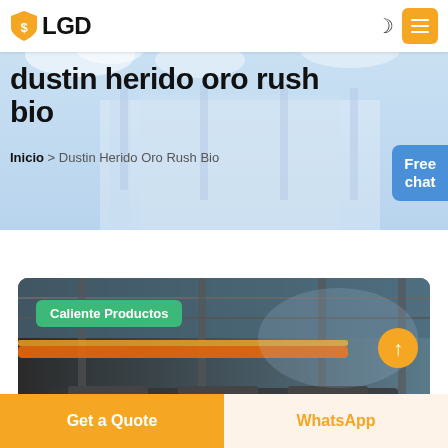LGD
dustin herido oro rush bio
Inicio > Dustin Herido Oro Rush Bio
Free chat
[Figure (photo): Industrial manufacturing facility interior with orange overhead crane and machinery]
Caliente Productos
Get a Quote
WhatsApp